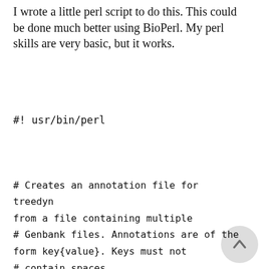I wrote a little perl script to do this. This could be done much better using BioPerl. My perl skills are very basic, but it works.
#! usr/bin/perl
# Creates an annotation file for treedyn from a file containing multiple
# Genbank files. Annotations are of the form key{value}. Keys must not
# contain spaces.
# usage: genbank2treedyn.pl infile.gb > outfile.tlf
$/ = "//"; # break up records on genbank // delimiter
while (<>) {
/ACCESSION[ ]*(S+)/; # matches ACCESSION line